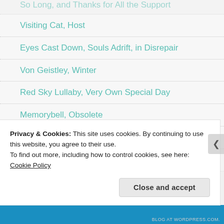So Long, and Thanks for All the Support
Visiting Cat, Host
Eyes Cast Down, Souls Adrift, in Disrepair
Von Geistley, Winter
Red Sky Lullaby, Very Own Special Day
Memorybell, Obsolete
Loren Nerell, The Venerable Dark Cloud
Joe Frawley, How They Met Themselves
Privacy & Cookies: This site uses cookies. By continuing to use this website, you agree to their use.
To find out more, including how to control cookies, see here: Cookie Policy
Close and accept